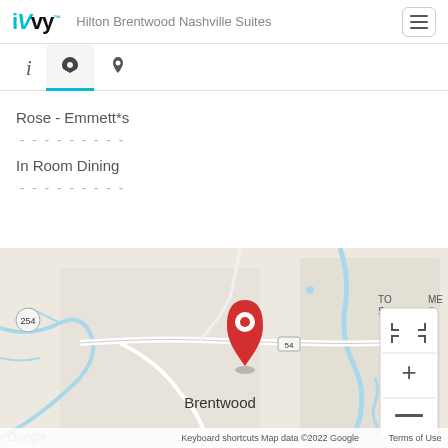iVvy  Hilton Brentwood Nashville Suites
Rose - Emmett*s
- - - - - - - - -
In Room Dining
- - - - - - - - -
[Figure (map): Google map showing Brentwood area with red location pin marker, zoom controls (+/-) and fullscreen button in top right. Map data ©2022 Google. Shows road 254, Brentwood label, rivers/streams in blue.]